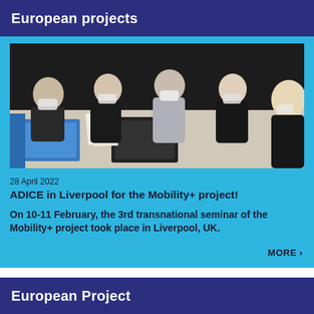European projects
[Figure (photo): Group of women wearing face masks sitting around a table with laptops and papers, working together in a meeting room]
28 April 2022
ADICE in Liverpool for the Mobility+ project!
On 10-11 February, the 3rd transnational seminar of the Mobility+ project took place in Liverpool, UK.
MORE >
European Project